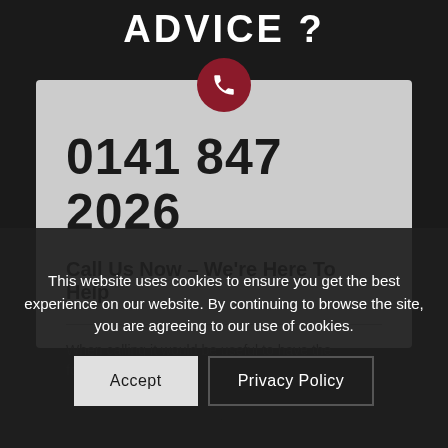ADVICE ?
0141 847 2026
Call Us Now – We're Here To Help
When calling it would be useful to have the following information:
Your Name
Company Name (If Applicable)
Email
Your Requirements
This website uses cookies to ensure you get the best experience on our website. By continuing to browse the site, you are agreeing to our use of cookies.
Accept
Privacy Policy